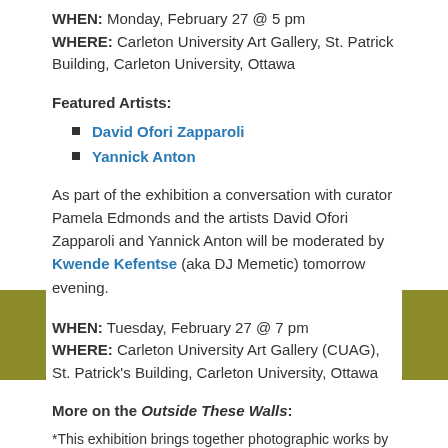WHEN: Monday, February 27 @ 5 pm
WHERE: Carleton University Art Gallery, St. Patrick Building, Carleton University, Ottawa
Featured Artists:
David Ofori Zapparoli
Yannick Anton
As part of the exhibition a conversation with curator Pamela Edmonds and the artists David Ofori Zapparoli and Yannick Anton will be moderated by Kwende Kefentse (aka DJ Memetic) tomorrow evening.
WHEN: Tuesday, February 27 @ 7 pm
WHERE: Carleton University Art Gallery (CUAG), St. Patrick's Building, Carleton University, Ottawa
More on the Outside These Walls:
*This exhibition brings together photographic works by